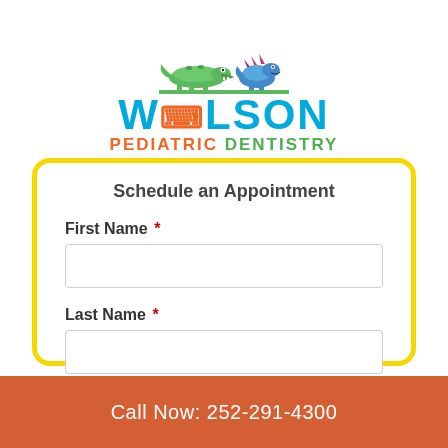[Figure (logo): Wilson Pediatric Dentistry logo with cartoon dinosaur/alligator animals on top, large blue WILSON text, orange PEDIATRIC and green DENTISTRY subtitle]
Schedule an Appointment
First Name *
Last Name *
Call Now: 252-291-4300